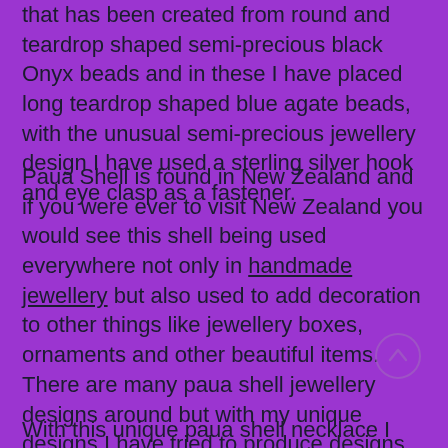that has been created from round and teardrop shaped semi-precious black Onyx beads and in these I have placed long teardrop shaped blue agate beads, with the unusual semi-precious jewellery design I have used a sterling silver hook and eye clasp as a fastener.
Paua Shell is found in New Zealand and if you were ever to visit New Zealand you would see this shell being used everywhere not only in handmade jewellery but also used to add decoration to other things like jewellery boxes, ornaments and other beautiful items. There are many paua shell jewellery designs around but with my unique designs I have tried to produce designs that are a little bit out of the ordinary and these pieces are only available here at Making A Statement Jewellery UK
With this unique paua shell necklace I have chosen to